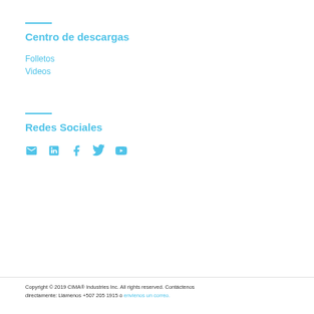Centro de descargas
Folletos
Videos
Redes Sociales
[Figure (illustration): Social media icons: email, LinkedIn, Facebook, Twitter, YouTube]
Copyright © 2019 CIMA® Industries Inc. All rights reserved. Contáctenos directamente: Llámenos +507 205 1915 ó envienos un correo.